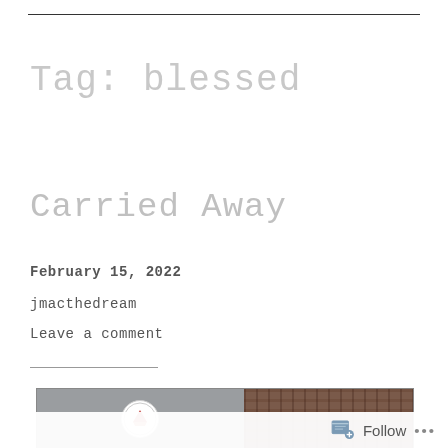Tag: blessed
Carried Away
February 15, 2022
jmacthedream
Leave a comment
[Figure (photo): Partial photo showing a circular logo/badge against a gray surface on the left half, and a brick wall on the right half. The image is cropped at the bottom of the page.]